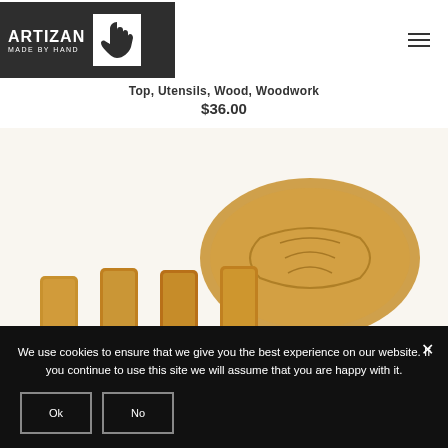ARTIZAN MADE BY HAND
Top, Utensils, Wood, Woodwork
$36.00
[Figure (photo): Wooden carved board and wooden utensils/blocks arranged on a white background]
We use cookies to ensure that we give you the best experience on our website. If you continue to use this site we will assume that you are happy with it.
Ok
No